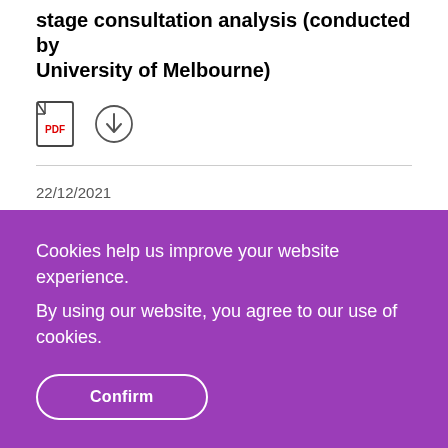stage consultation analysis (conducted by University of Melbourne)
[Figure (other): PDF document icon and download icon]
22/12/2021
Guide to Transitional Arrangements for    147.46 KB
Cookies help us improve your website experience.
By using our website, you agree to our use of cookies.
Confirm